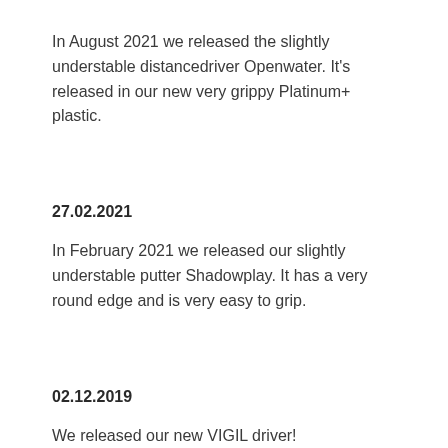In August 2021 we released the slightly understable distancedriver Openwater. It's released in our new very grippy Platinum+ plastic.
27.02.2021
In February 2021 we released our slightly understable putter Shadowplay. It has a very round edge and is very easy to grip.
02.12.2019
We released our new VIGIL driver!
The VIGIL is an understable driver in grippy and extra